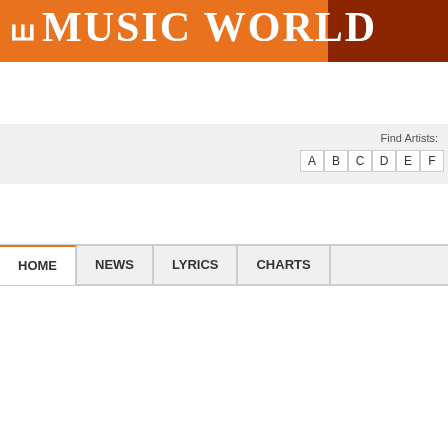Music World
Find Artists: A B C D E F
HOME | NEWS | LYRICS | CHARTS
Music World → Lyrics → O → Outkast
Outkast Overview
Albums